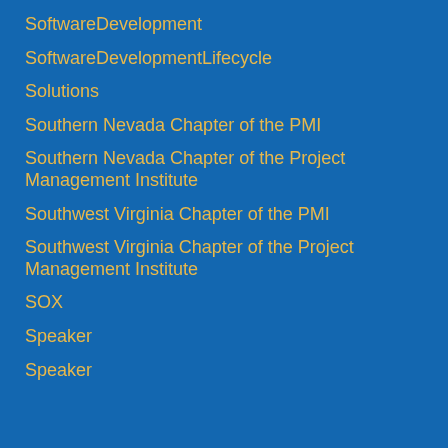SoftwareDevelopment
SoftwareDevelopmentLifecycle
Solutions
Southern Nevada Chapter of the PMI
Southern Nevada Chapter of the Project Management Institute
Southwest Virginia Chapter of the PMI
Southwest Virginia Chapter of the Project Management Institute
SOX
Speaker
Speaker